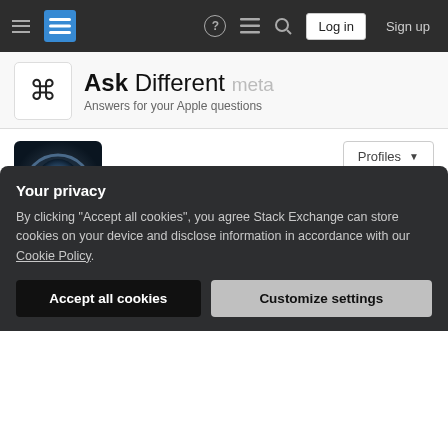Ask Different meta — Stack Exchange navigation bar
[Figure (logo): Ask Different meta site logo with command key symbol]
Ask Different meta — Answers for your Apple questions
[Figure (photo): User profile avatar showing a person in a space helmet]
Global nomad
Member for 11 years, 6 months   Last seen more than 1 year ago
Your privacy
By clicking "Accept all cookies", you agree Stack Exchange can store cookies on your device and disclose information in accordance with our Cookie Policy.